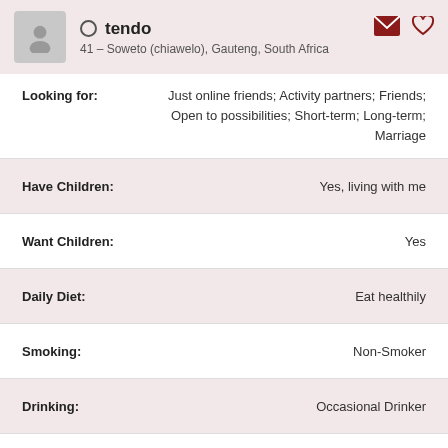tendo — 41 – Soweto (chiawelo), Gauteng, South Africa
Looking for: Just online friends; Activity partners; Friends; Open to possibilities; Short-term; Long-term; Marriage
| Field | Value |
| --- | --- |
| Have Children: | Yes, living with me |
| Want Children: | Yes |
| Daily Diet: | Eat healthily |
| Smoking: | Non-Smoker |
| Drinking: | Occasional Drinker |
| Education: | High / secondary school |